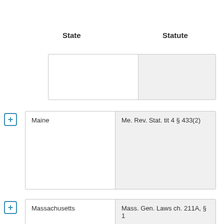| State | Statute |
| --- | --- |
|  |  |
| Maine | Me. Rev. Stat. tit 4 § 433(2) |
| Massachusetts | Mass. Gen. Laws ch. 211A, § 1 |